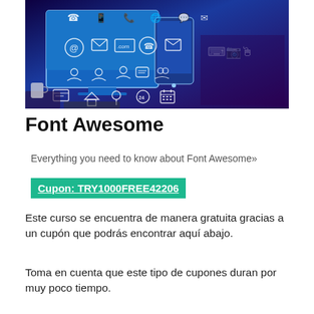[Figure (illustration): Blue-toned photo of a computer monitor and smartphone with various communication and technology icons overlaid (phone, email, @, .com, globe, chat, user, calendar, location pin, etc.)]
Font Awesome
Everything you need to know about Font Awesome»
Cupon: TRY1000FREE42206
Este curso se encuentra de manera gratuita gracias a un cupón que podrás encontrar aquí abajo.
Toma en cuenta que este tipo de cupones duran por muy poco tiempo.